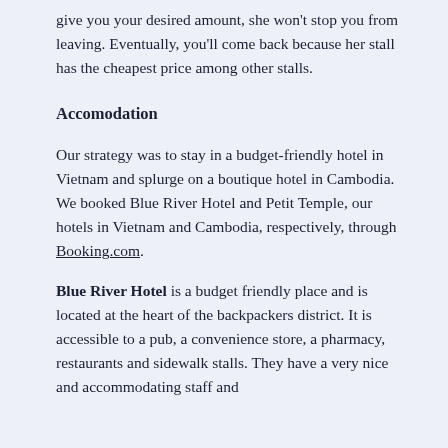give you your desired amount, she won't stop you from leaving. Eventually, you'll come back because her stall has the cheapest price among other stalls.
Accomodation
Our strategy was to stay in a budget-friendly hotel in Vietnam and splurge on a boutique hotel in Cambodia. We booked Blue River Hotel and Petit Temple, our hotels in Vietnam and Cambodia, respectively, through Booking.com.
Blue River Hotel is a budget friendly place and is located at the heart of the backpackers district. It is accessible to a pub, a convenience store, a pharmacy, restaurants and sidewalk stalls. They have a very nice and accommodating staff and